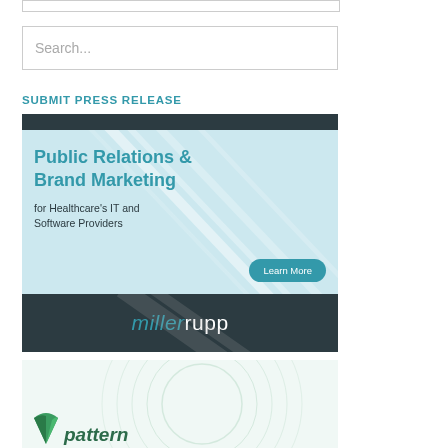[Figure (screenshot): Top border of a search box (partially visible at top of page)]
[Figure (screenshot): Search input box with placeholder text 'Search...']
SUBMIT PRESS RELEASE
[Figure (infographic): MillerRupp advertisement banner. Top dark bar, main light blue area with text 'Public Relations & Brand Marketing for Healthcare's IT and Software Providers' and a 'Learn More' teal button. Bottom dark bar with 'millerrupp' logo in teal and white.]
[Figure (logo): Pattern logo partially visible at bottom of page, showing a green leaf/fan icon and italic text 'pattern' in dark green.]